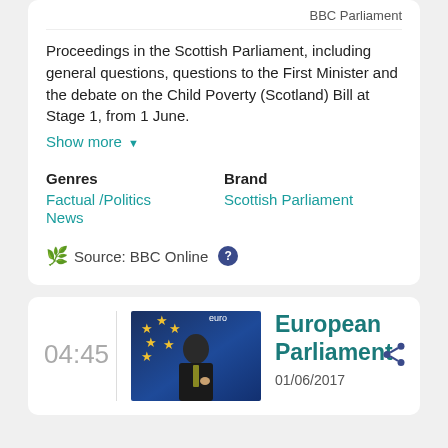BBC Parliament
Proceedings in the Scottish Parliament, including general questions, questions to the First Minister and the debate on the Child Poverty (Scotland) Bill at Stage 1, from 1 June.
Show more ▼
Genres
Factual / Politics
News
Brand
Scottish Parliament
Source: BBC Online ?
04:45
[Figure (photo): Man in suit speaking at podium with EU flag stars in background, labeled 'euro']
European Parliament
01/06/2017